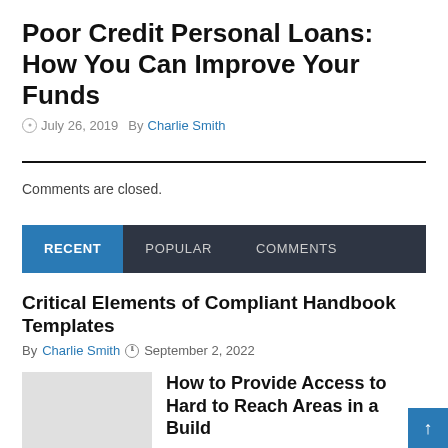Poor Credit Personal Loans: How You Can Improve Your Funds
July 26, 2019  By Charlie Smith
Comments are closed.
RECENT  POPULAR  COMMENTS
Critical Elements of Compliant Handbook Templates
By Charlie Smith  September 2, 2022
How to Provide Access to Hard to Reach Areas in a Build